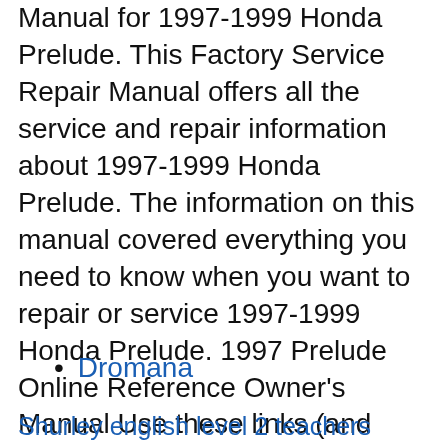Manual for 1997-1999 Honda Prelude. This Factory Service Repair Manual offers all the service and repair information about 1997-1999 Honda Prelude. The information on this manual covered everything you need to know when you want to repair or service 1997-1999 Honda Prelude. 1997 Prelude Online Reference Owner's Manual Use these links (and links throughout this manual) to navigate through this reference. For a printed owner's manual, click on authorized manuals or go to www.helminc.com.
Dromana
Shurley english level 2 teachers manual